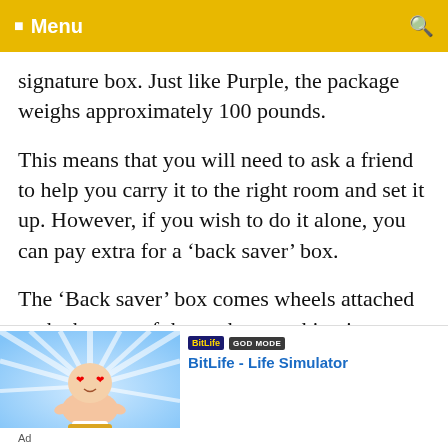Menu
signature box. Just like Purple, the package weighs approximately 100 pounds.
This means that you will need to ask a friend to help you carry it to the right room and set it up. However, if you wish to do it alone, you can pay extra for a ‘back saver’ box.
The ‘Back saver’ box comes wheels attached to the bottom of the package making it easy to roll
[Figure (infographic): BitLife - Life Simulator advertisement banner with cartoon baby character with heart eyes, BitLife logo, GOD MODE badge, and app title in blue text]
Ad